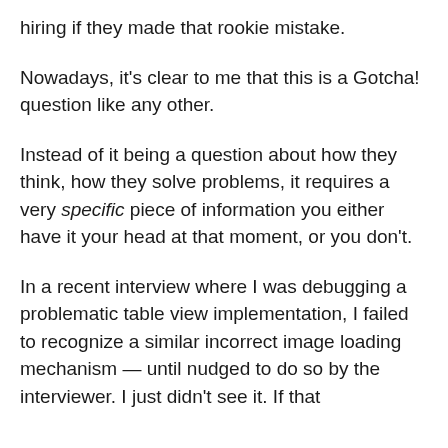hiring if they made that rookie mistake.
Nowadays, it's clear to me that this is a Gotcha! question like any other.
Instead of it being a question about how they think, how they solve problems, it requires a very specific piece of information you either have it your head at that moment, or you don't.
In a recent interview where I was debugging a problematic table view implementation, I failed to recognize a similar incorrect image loading mechanism — until nudged to do so by the interviewer. I just didn't see it. If that